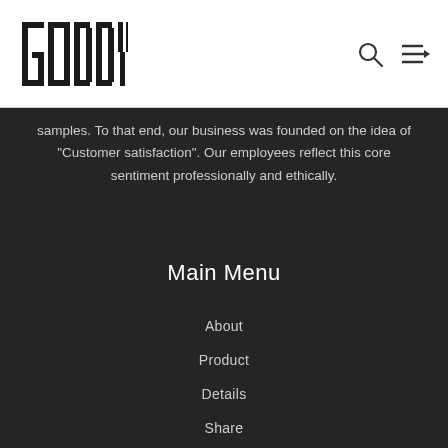[Figure (logo): GODDY logo with stylized vertical bar letters in black on white header]
samples. To that end, our business was founded on the idea of "Customer satisfaction". Our employees reflect this core sentiment professionally and ethically.
Main Menu
About
Product
Details
Share